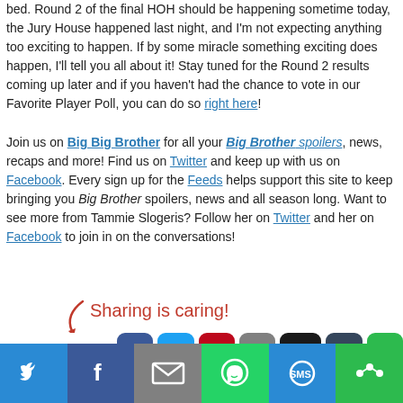bed. Round 2 of the final HOH should be happening sometime today, the Jury House happened last night, and I'm not expecting anything too exciting to happen. If by some miracle something exciting does happen, I'll tell you all about it! Stay tuned for the Round 2 results coming up later and if you haven't had the chance to vote in our Favorite Player Poll, you can do so right here!
Join us on Big Big Brother for all your Big Brother spoilers, news, recaps and more! Find us on Twitter and keep up with us on Facebook. Every sign up for the Feeds helps support this site to keep bringing you Big Brother spoilers, news and all season long. Want to see more from Tammie Slogeris? Follow her on Twitter and her on Facebook to join in on the conversations!
[Figure (infographic): Sharing is caring! text with a red arrow pointing to social share buttons: Facebook, Twitter, Pinterest, Email, Digg, Tumblr, More Options]
Recent Posts on Big Big Brother:
Survivor Live Recap: Season 42 Finale – It Comes Down to This
[Figure (infographic): Bottom share bar with Twitter, Facebook, Email, WhatsApp, SMS, and More Options buttons]